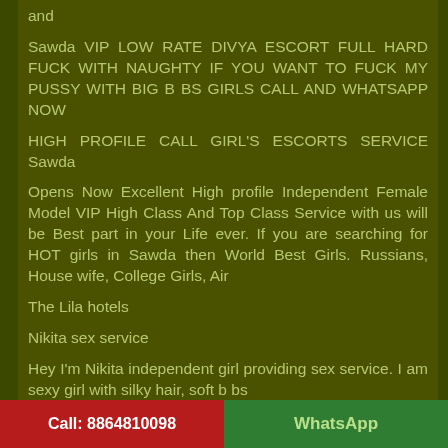and
Sawda VIP LOW RATE DIVYA ESCORT FULL HARD FUCK WITH NAUGHTY IF YOU WANT TO FUCK MY PUSSY WITH BIG B BS GIRLS CALL AND WHATSAPP NOW
HIGH PROFILE CALL GIRL'S ESCORTS SERVICE Sawda
Opens Now Excellent High profile Independent Female Model VIP High Class And Top Class Service with us will be Best part in your Life ever. If you are searching for HOT girls in Sawda then World Best Girls. Russians, House wife, College Girls, Air
The Lila hotels
Nikita sex service
Hey I'm Nikita independent girl providing sex service. I am sexy girl with silky hair, soft b bs
Call: 8864810098    WhatsApp